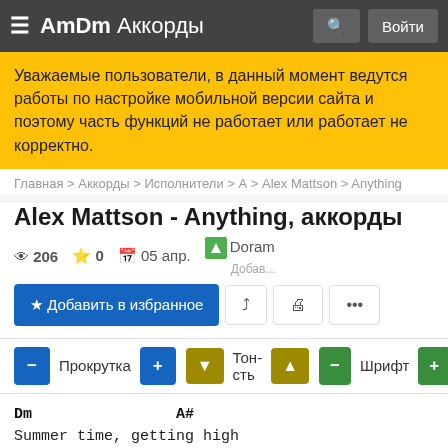AmDm Аккорды
Уважаемые пользователи, в данный момент ведутся работы по настройке мобильной версии сайта и поэтому часть функций не работает или работает не корректно.
Главная > Аккорды > Исполнители > А > Alex Mattson > Anything
Alex Mattson - Anything, аккорды
206  0  05 апр.  Doram Добав...
Добавить в избранное
− Прокрутка +  ↓ Тон-сть ↑  − Шрифт +
Dm                A#
Summer time, getting high
          F              C
On the small town streets
          Dm                A#
We were young, got it wrong
          F        C